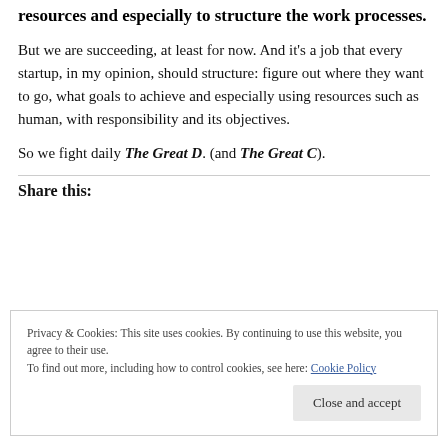resources and especially to structure the work processes.
But we are succeeding, at least for now. And it's a job that every startup, in my opinion, should structure: figure out where they want to go, what goals to achieve and especially using resources such as human, with responsibility and its objectives.
So we fight daily The Great D. (and The Great C).
Share this:
Privacy & Cookies: This site uses cookies. By continuing to use this website, you agree to their use.
To find out more, including how to control cookies, see here: Cookie Policy